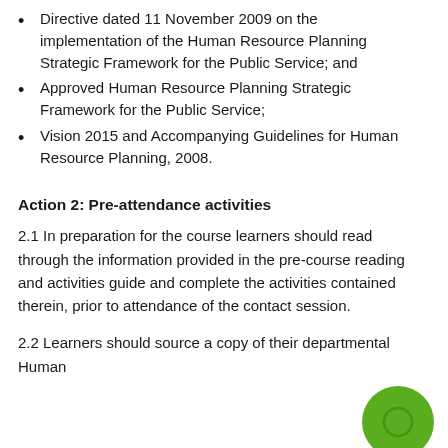Directive dated 11 November 2009 on the implementation of the Human Resource Planning Strategic Framework for the Public Service; and
Approved Human Resource Planning Strategic Framework for the Public Service;
Vision 2015 and Accompanying Guidelines for Human Resource Planning, 2008.
Action 2: Pre-attendance activities
2.1 In preparation for the course learners should read through the information provided in the pre-course reading and activities guide and complete the activities contained therein, prior to attendance of the contact session.
2.2 Learners should source a copy of their departmental Human